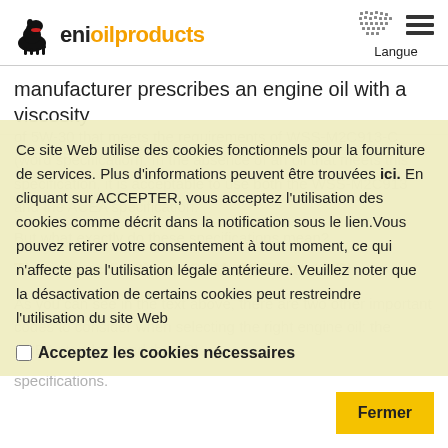eni oil products — Langue
manufacturer prescribes an engine oil with a viscosity
Ce site Web utilise des cookies fonctionnels pour la fourniture de services. Plus d'informations peuvent être trouvées ici. En cliquant sur ACCEPTER, vous acceptez l'utilisation des cookies comme décrit dans la notification sous le lien. Vous pouvez retirer votre consentement à tout moment, ce qui n'affecte pas l'utilisation légale antérieure. Veuillez noter que la désactivation de certains cookies peut restreindre l'utilisation du site Web
Acceptez les cookies nécessaires